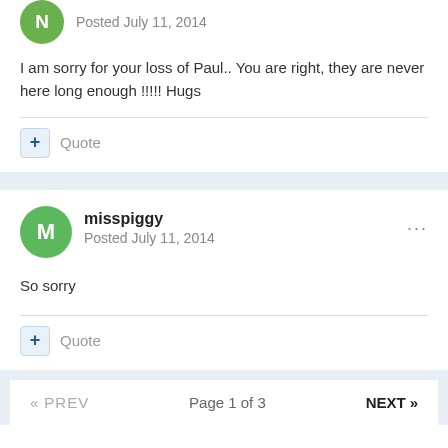Posted July 11, 2014
I am sorry for your loss of Paul.. You are right, they are never here long enough !!!!! Hugs
Quote
misspiggy
Posted July 11, 2014
So sorry
Quote
« PREV   Page 1 of 3   NEXT »